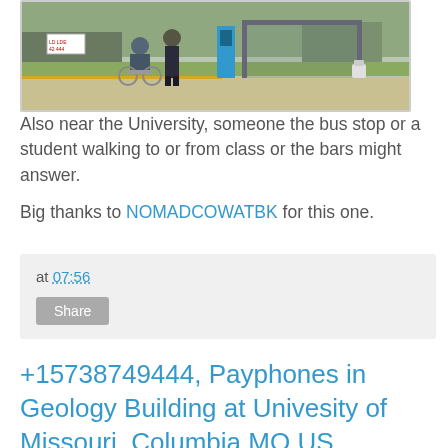[Figure (photo): A person pushing someone in a wheelchair near a bus stop with a payphone and fire hydrant visible, near a university area.]
Also near the University, someone the bus stop or a student walking to or from class or the bars might answer.
Big thanks to NOMADCOWATBK for this one.
at 07:56 Share
+15738749444, Payphones in Geology Building at Univesity of Missouri, Columbia MO US